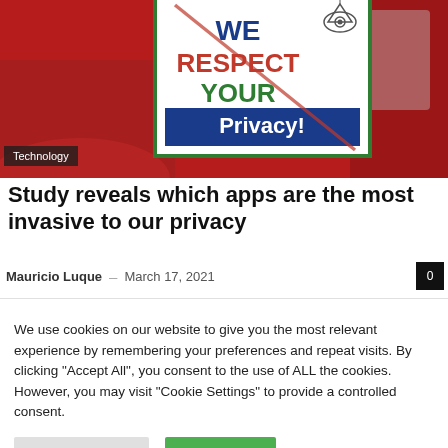[Figure (photo): Photo of a sign on a red car reading 'We Respect Your Privacy!' with an eye symbol and a red diagonal line through it. A 'Technology' tag overlay is in the bottom-left corner.]
Study reveals which apps are the most invasive to our privacy
Mauricio Luque - March 17, 2021
We use cookies on our website to give you the most relevant experience by remembering your preferences and repeat visits. By clicking "Accept All", you consent to the use of ALL the cookies. However, you may visit "Cookie Settings" to provide a controlled consent.